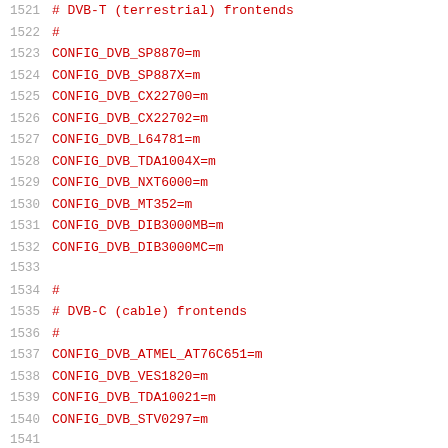1521  # DVB-T (terrestrial) frontends
1522  #
1523  CONFIG_DVB_SP8870=m
1524  CONFIG_DVB_SP887X=m
1525  CONFIG_DVB_CX22700=m
1526  CONFIG_DVB_CX22702=m
1527  CONFIG_DVB_L64781=m
1528  CONFIG_DVB_TDA1004X=m
1529  CONFIG_DVB_NXT6000=m
1530  CONFIG_DVB_MT352=m
1531  CONFIG_DVB_DIB3000MB=m
1532  CONFIG_DVB_DIB3000MC=m
1533
1534  #
1535  # DVB-C (cable) frontends
1536  #
1537  CONFIG_DVB_ATMEL_AT76C651=m
1538  CONFIG_DVB_VES1820=m
1539  CONFIG_DVB_TDA10021=m
1540  CONFIG_DVB_STV0297=m
1541